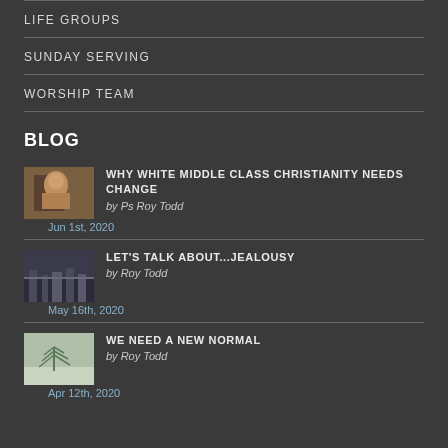LIFE GROUPS
SUNDAY SERVING
WORSHIP TEAM
BLOG
WHY WHITE MIDDLE CLASS CHRISTIANITY NEEDS CHANGE
by Ps Roy Todd
Jun 1st, 2020
LET'S TALK ABOUT...JEALOUSY
by Roy Todd
May 16th, 2020
WE NEED A NEW NORMAL
by Roy Todd
Apr 12th, 2020